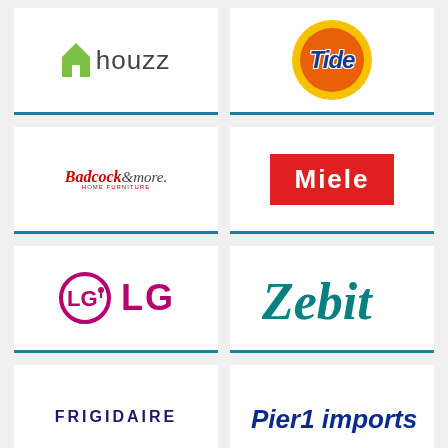[Figure (logo): Houzz logo — green house icon followed by 'houzz' in gray lowercase text]
[Figure (logo): Tide logo — circular badge with yellow outer ring, orange inner circle, and italic blue 'Tide' text]
[Figure (logo): Badcock & more logo — italic red 'Badcock' with 'HOME FURNITURE' subtitle and '&more.' in gray]
[Figure (logo): Miele logo — white bold 'Miele' text on red rectangular background]
[Figure (logo): LG logo — pink/magenta circle with LG letters and 'LG' text to the right]
[Figure (logo): Zebit logo — teal italic script 'Zebit' text]
[Figure (logo): Frigidaire logo — dark blue bold uppercase 'FRIGIDAIRE' text]
[Figure (logo): Pier 1 imports logo — dark blue bold italic 'Pier1 imports' text]